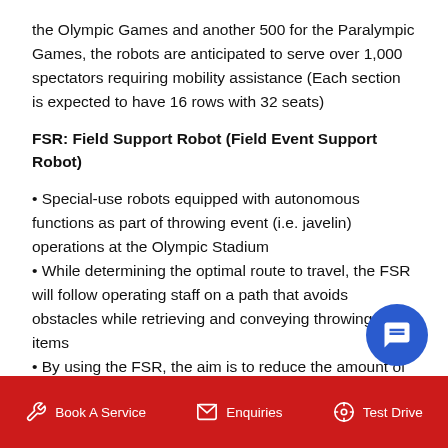the Olympic Games and another 500 for the Paralympic Games, the robots are anticipated to serve over 1,000 spectators requiring mobility assistance (Each section is expected to have 16 rows with 32 seats)
FSR: Field Support Robot (Field Event Support Robot)
• Special-use robots equipped with autonomous functions as part of throwing event (i.e. javelin) operations at the Olympic Stadium
• While determining the optimal route to travel, the FSR will follow operating staff on a path that avoids obstacles while retrieving and conveying throwing event items
• By using the FSR, the aim is to reduce the amount of time needed to retrieve items as well as reduce the amount of staff labor for the events
• Toyota and Tokyo 2020 will be working with the
Book A Service   Enquiries   Test Drive